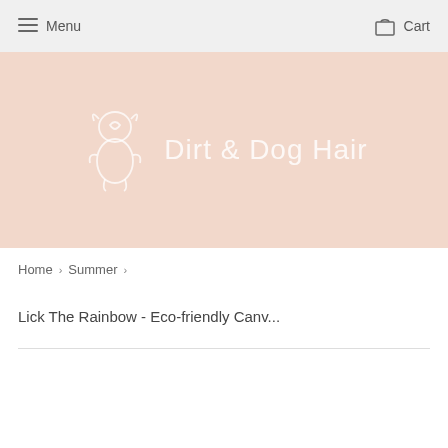Menu   Cart
[Figure (logo): Dirt & Dog Hair logo with cartoon dog icon and text on a light peach/salmon banner background]
Home › Summer ›
Lick The Rainbow - Eco-friendly Canv...